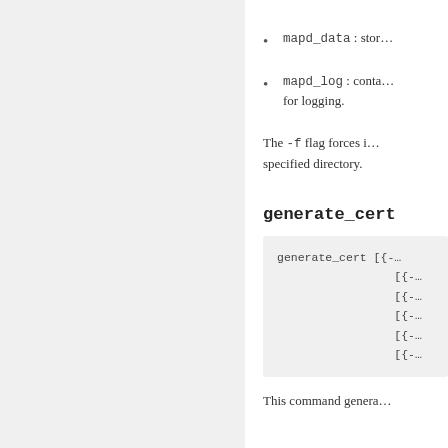mapd_data : stor…
mapd_log : conta… for logging.
The -f flag forces i… specified directory.
generate_cert
generate_cert [{-…
[{-…
[{-…
[{-…
[{-…
[{-…
This command genera…